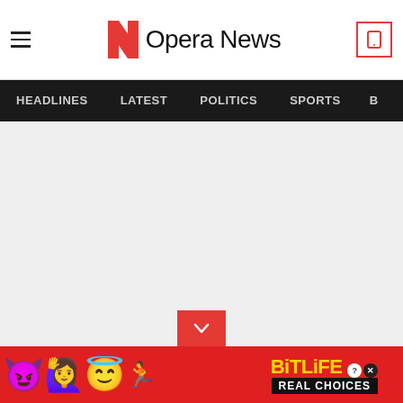Opera News
HEADLINES  LATEST  POLITICS  SPORTS  B
[Figure (screenshot): Large gray placeholder content area with a red scroll-down button at bottom center]
[Figure (illustration): BitLife advertisement banner with emoji characters (devil, woman, angel, sperm) on red background with text BITLIFE REAL CHOICES and close button]